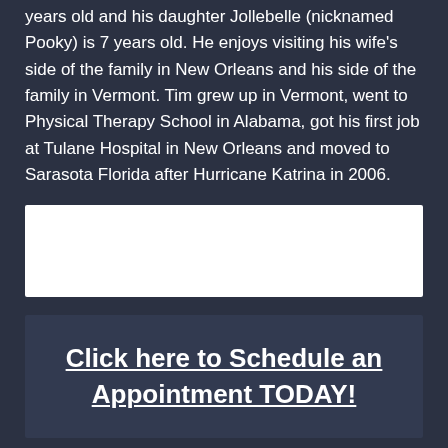years old and his daughter Jollebelle (nicknamed Pooky) is 7 years old. He enjoys visiting his wife's side of the family in New Orleans and his side of the family in Vermont. Tim grew up in Vermont, went to Physical Therapy School in Alabama, got his first job at Tulane Hospital in New Orleans and moved to Sarasota Florida after Hurricane Katrina in 2006.
[Figure (other): White rectangular box/image placeholder on dark background]
Click here to Schedule an Appointment TODAY!